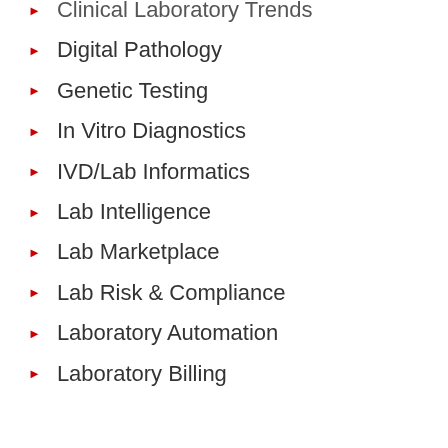Clinical Laboratory Trends
Digital Pathology
Genetic Testing
In Vitro Diagnostics
IVD/Lab Informatics
Lab Intelligence
Lab Marketplace
Lab Risk & Compliance
Laboratory Automation
Laboratory Billing